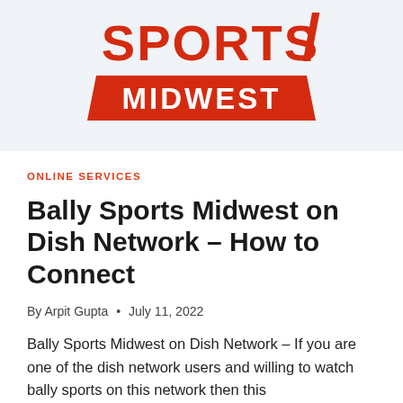[Figure (logo): Bally Sports Midwest logo — red 'SPORTS' text with a forward slash, and a red parallelogram banner with white 'MIDWEST' text]
ONLINE SERVICES
Bally Sports Midwest on Dish Network – How to Connect
By Arpit Gupta • July 11, 2022
Bally Sports Midwest on Dish Network – If you are one of the dish network users and willing to watch bally sports on this network then this